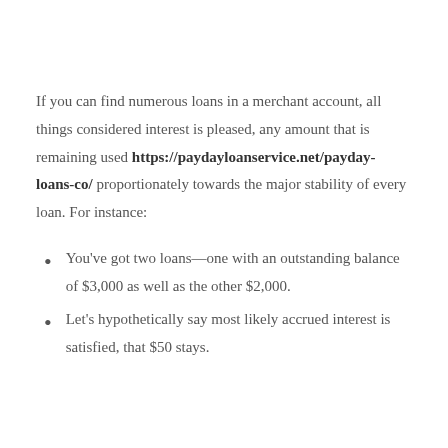If you can find numerous loans in a merchant account, all things considered interest is pleased, any amount that is remaining used https://paydayloanservice.net/payday-loans-co/ proportionately towards the major stability of every loan. For instance:
You've got two loans—one with an outstanding balance of $3,000 as well as the other $2,000.
Let's hypothetically say most likely accrued interest is satisfied, that $50 stays.